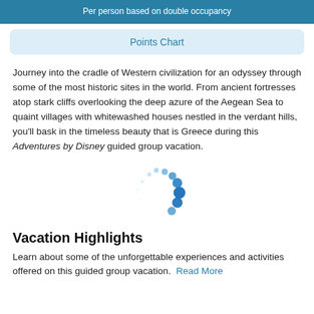Per person based on double occupancy
Points Chart
Journey into the cradle of Western civilization for an odyssey through some of the most historic sites in the world. From ancient fortresses atop stark cliffs overlooking the deep azure of the Aegean Sea to quaint villages with whitewashed houses nestled in the verdant hills, you'll bask in the timeless beauty that is Greece during this Adventures by Disney guided group vacation.
[Figure (illustration): Loading spinner graphic made of blue dots arranged in a circular pattern]
Vacation Highlights
Learn about some of the unforgettable experiences and activities offered on this guided group vacation. Read More